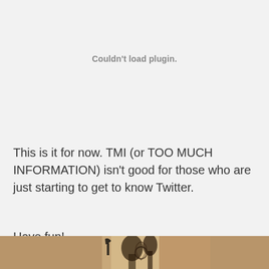Couldn't load plugin.
This is it for now. TMI (or TOO MUCH INFORMATION) isn't good for those who are just starting to get to know Twitter.
Have fun!
[Figure (photo): Partial photo visible at bottom of page showing an indoor scene with decorative elements, partially cropped]